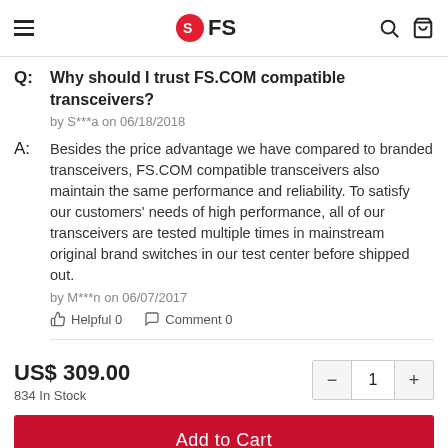FS (logo)
Q: Why should I trust FS.COM compatible transceivers?
by S***a on 06/18/2018
A: Besides the price advantage we have compared to branded transceivers, FS.COM compatible transceivers also maintain the same performance and reliability. To satisfy our customers' needs of high performance, all of our transceivers are tested multiple times in mainstream original brand switches in our test center before shipped out.
by M***n on 06/07/2017
Helpful 0    Comment 0
US$ 309.00
834 In Stock
Add to Cart